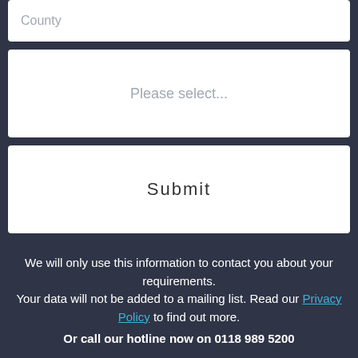County
Please select...
Submit
We will only use this information to contact you about your requirements.
Your data will not be added to a mailing list. Read our Privacy Policy to find out more.
Or call our hotline now on 0118 989 5200